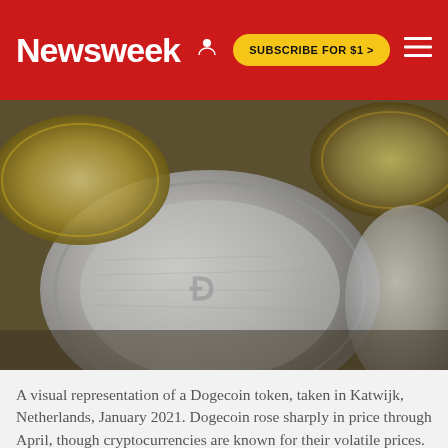Newsweek  SUBSCRIBE FOR $1 >
[Figure (photo): Close-up photograph of cryptocurrency coins including a Dogecoin token and gold/silver colored coins, taken in Katwijk, Netherlands, January 2021.]
A visual representation of a Dogecoin token, taken in Katwijk, Netherlands, January 2021. Dogecoin rose sharply in price through April, though cryptocurrencies are known for their volatile prices.
YURIKO NAKAO/GETTY